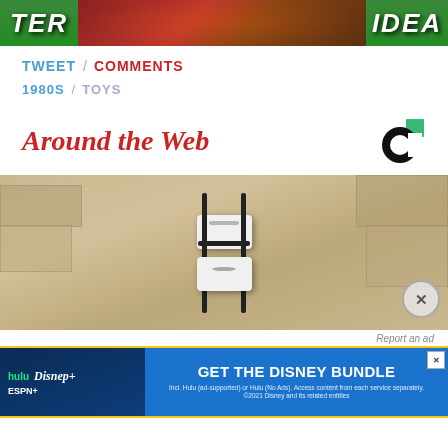[Figure (photo): Top banner image showing colorful jungle/toy scene with partial text 'TER' on left and 'IDEA' on right against a green and red background]
TWEET / COMMENTS
1980S / TOYS
Around the Web
[Figure (logo): Around the Web logo — black and green partial circle donut chart icon]
[Figure (photo): Black and white close-up photo of a spider or insect on a white cylindrical object with black metal bars/cage, set against a stone wall background]
Report an ad
[Figure (other): Hulu Disney Bundle advertisement banner with Hulu, Disney+, ESPN+ logos on dark blue background and 'GET THE DISNEY BUNDLE' call to action in bright blue. Fine print: Incl. Hulu (ad-supported) or Hulu (No Ads). Access content from each service separately. ©2021 Disney and its related entities]